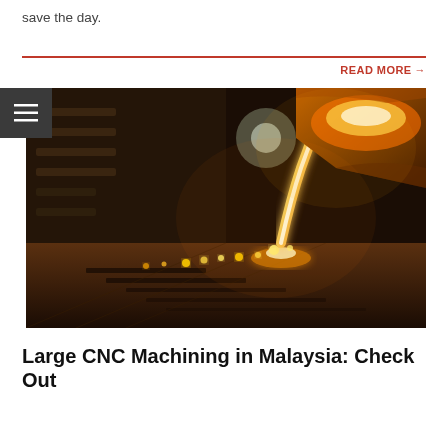save the day.
READ MORE →
[Figure (photo): Molten metal being poured from a ladle/crucible into a mold on a foundry floor, with glowing sparks and bright molten stream visible against a dark industrial background.]
Large CNC Machining in Malaysia: Check Out